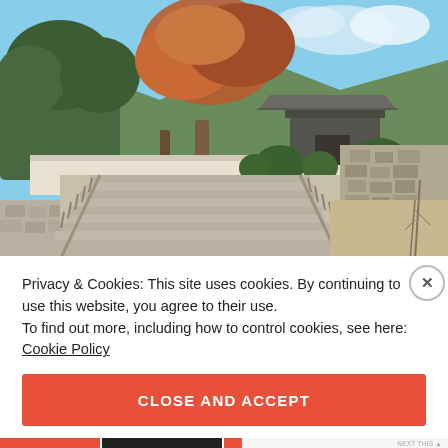[Figure (photo): Japanese temple or garden gate at the top of stone stairs with wooden railings, surrounded by autumn trees and stone walls, blue sky visible]
Privacy & Cookies: This site uses cookies. By continuing to use this website, you agree to their use.
To find out more, including how to control cookies, see here: Cookie Policy
CLOSE AND ACCEPT